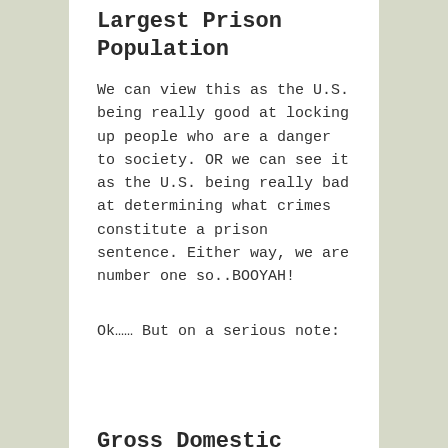Largest Prison Population
We can view this as the U.S. being really good at locking up people who are a danger to society. OR we can see it as the U.S. being really bad at determining what crimes constitute a prison sentence. Either way, we are number one so..BOOYAH!
Ok…… But on a serious note:
Gross Domestic Product
For those of you who didn't get a degree in something that matters, Gross Domestic Product (GDP) is a